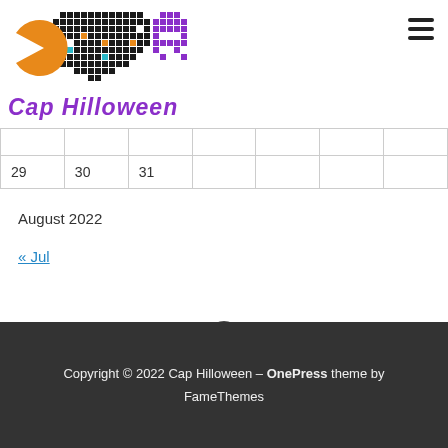[Figure (logo): Cap Hilloween logo: pixel-art Pac-Man ghost and dots, with purple ghost icon, orange Pac-Man, and pixel grid]
Cap Hilloween
|  |  |  |  |  |  |  |
| 29 | 30 | 31 |  |  |  |  |
August 2022
« Jul
Copyright © 2022 Cap Hilloween – OnePress theme by FameThemes